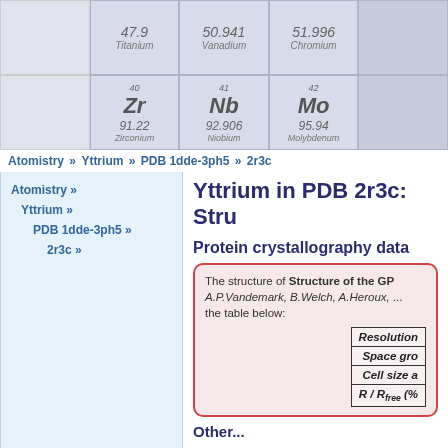[Figure (illustration): Periodic table header image showing elements including Titanium (47.9), Vanadium (50.941), Chromium (51.996) in top row and Zr (40, 91.22), Nb (41, 92.906), Mo (42, 95.94) in bottom row with bluish-purple tile background]
Atomistry » Yttrium » PDB 1dde-3ph5 » 2r3c
Atomistry »
Yttrium »
PDB 1dde-3ph5 »
2r3c »
Yttrium in PDB 2r3c: Stru
Protein crystallography data
The structure of Structure of the GP... A.P.Vandemark, B.Welch, A.Heroux, ... the table below:
| Resolution | Space gro | Cell size a | R / Rfree (%) |
| --- | --- | --- | --- |
Other...